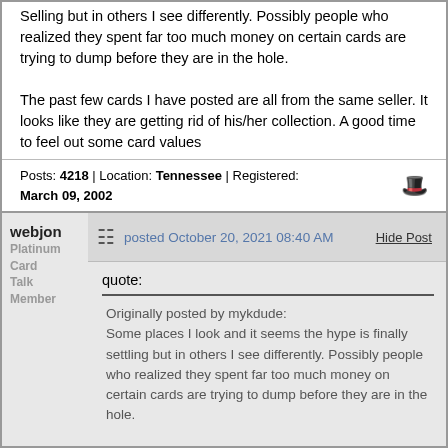Selling but in others I see differently. Possibly people who realized they spent far too much money on certain cards are trying to dump before they are in the hole.

The past few cards I have posted are all from the same seller. It looks like they are getting rid of his/her collection. A good time to feel out some card values
Posts: 4218 | Location: Tennessee | Registered: March 09, 2002
webjon
Platinum Card Talk Member
posted October 20, 2021 08:40 AM
Hide Post
quote:
Originally posted by mykdude:
Some places I look and it seems the hype is finally settling but in others I see differently. Possibly people who realized they spent far too much money on certain cards are trying to dump before they are in the hole.

The past few cards I have posted are all from the same seller. It looks like they are getting rid of his/her collection. A good time to feel out some card values